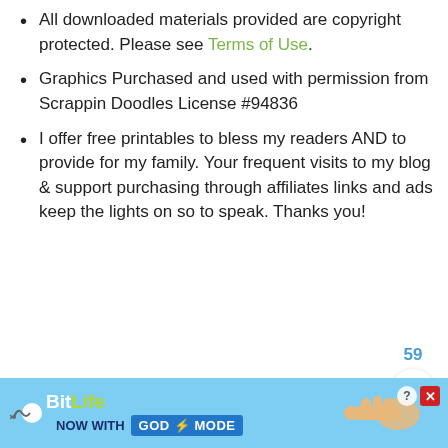All downloaded materials provided are copyright protected. Please see Terms of Use.
Graphics Purchased and used with permission from Scrappin Doodles License #94836
I offer free printables to bless my readers AND to provide for my family. Your frequent visits to my blog & support purchasing through affiliates links and ads keep the lights on so to speak. Thanks you!
[Figure (screenshot): Page number 59 displayed in blue, a circular white heart/like button, and a circular blue search/magnifying glass button on the right side]
[Figure (screenshot): BitLife advertisement banner: NOW WITH GOD MODE, with hand/finger pointing graphic and close/info buttons]